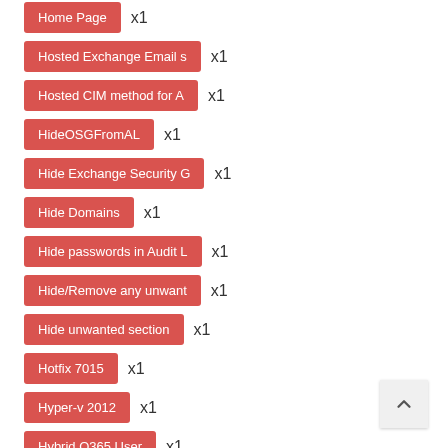Home Page x1
Hosted Exchange Email s... x1
Hosted CIM method for A... x1
HideOSGFromAL x1
Hide Exchange Security G... x1
Hide Domains x1
Hide passwords in Audit L... x1
Hide/Remove any unwant... x1
Hide unwanted section x1
Hotfix 7015 x1
Hyper-v 2012 x1
Hybrid O365 User x1
Hyper-V 2012 R2 Genera... x1